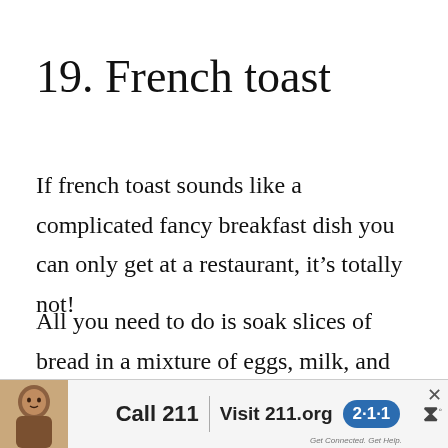19. French toast
If french toast sounds like a complicated fancy breakfast dish you can only get at a restaurant, it's totally not!
All you need to do is soak slices of bread in a mixture of eggs, milk, and cinnamon or nutmeg. Then brown them in a skillet
[Figure (screenshot): Advertisement banner at the bottom of the page showing a child's photo, text 'Call 211 | Visit 211.org' with a blue 2-1-1 badge logo, and a small W logo on the right.]